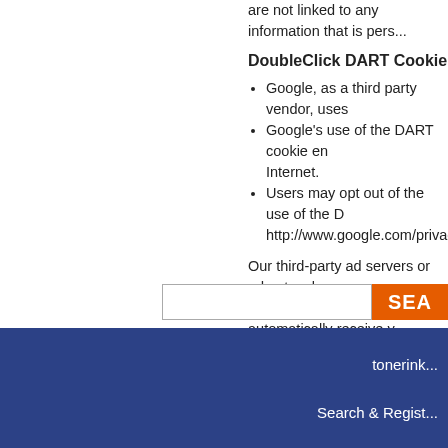are not linked to any information that is personally identifiable.
DoubleClick DART Cookie
Google, as a third party vendor, uses cookies to serve ads on your site.
Google's use of the DART cookie enables it to serve ads to users based on their visit to your site and other sites on the Internet.
Users may opt out of the use of the DART cookie by visiting the Google ad and content network privacy policy at http://www.google.com/privacy_ads.html
Our third-party ad servers or ad networks use technology to the advertisements and links that appear on our site send directly to your browsers. They automatically receive your IP address when this occurs. Other technologies ( such as cookies, JavaScript, or Web Beacons ) may also be used by the third-party ad networks to measure the effectiveness of their advertisements and / or to personalize the advertising content that you see.
tonerinkdepot.ca has no access to or control over these cookies that are used by third-party advertisers.
You should consult the respective privacy policies of these third-party ad servers for more detailed information on their practices as well as for instructions about how to opt-out of certain practices. tonerinkdepot.ca's privacy policy does not apply to, and we cannot control the activities of, such other advertisers or web sites.
If you wish to disable cookies, you may do so through your individual browser options. More detailed information about cookie management with specific web browsers can be found at the browsers' respective websites.
tonerinkdepot.ca
Search & Register